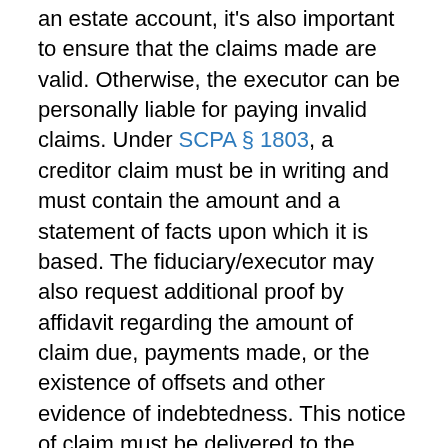an estate account, it's also important to ensure that the claims made are valid. Otherwise, the executor can be personally liable for paying invalid claims. Under SCPA § 1803, a creditor claim must be in writing and must contain the amount and a statement of facts upon which it is based. The fiduciary/executor may also request additional proof by affidavit regarding the amount of claim due, payments made, or the existence of offsets and other evidence of indebtedness. This notice of claim must be delivered to the executor either personally or by certified mail, return receipt requested.
In the example above, suppose that the student loan debt was not made by a banking institution but the uncle of Adam, Robert. When Robert learned that Adam died, Robert received the notice of death...